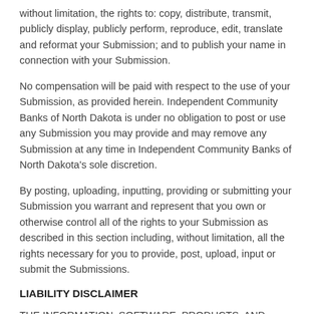without limitation, the rights to: copy, distribute, transmit, publicly display, publicly perform, reproduce, edit, translate and reformat your Submission; and to publish your name in connection with your Submission.
No compensation will be paid with respect to the use of your Submission, as provided herein. Independent Community Banks of North Dakota is under no obligation to post or use any Submission you may provide and may remove any Submission at any time in Independent Community Banks of North Dakota's sole discretion.
By posting, uploading, inputting, providing or submitting your Submission you warrant and represent that you own or otherwise control all of the rights to your Submission as described in this section including, without limitation, all the rights necessary for you to provide, post, upload, input or submit the Submissions.
LIABILITY DISCLAIMER
THE INFORMATION, SOFTWARE, PRODUCTS, AND SERVICES INCLUDED IN OR AVAILABLE THROUGH THE Independent Community Banks of North Dakota WEB SITE MAY INCLUDE